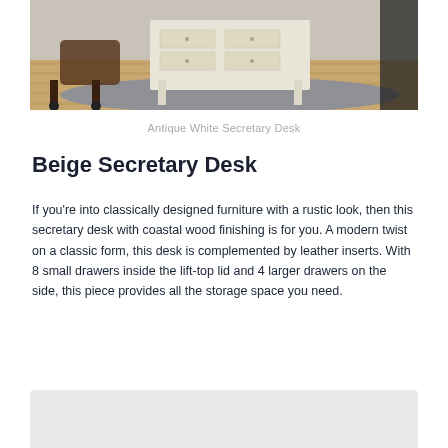[Figure (photo): Photo of an Antique White Secretary Desk with a chair and rug on hardwood floor]
Antique White Secretary Desk
Beige Secretary Desk
If you're into classically designed furniture with a rustic look, then this secretary desk with coastal wood finishing is for you. A modern twist on a classic form, this desk is complemented by leather inserts. With 8 small drawers inside the lift-top lid and 4 larger drawers on the side, this piece provides all the storage space you need.
[Figure (photo): Partial view of another product image at the bottom of the page]